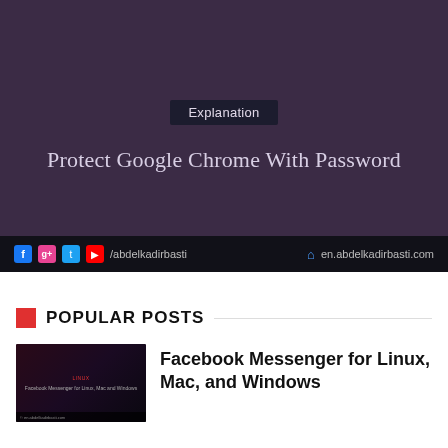[Figure (screenshot): Screenshot of a presentation slide with dark purple background showing 'Explanation' badge and title 'Protect Google Chrome With Password', with a social media footer bar showing Facebook, Google+, Twitter, YouTube icons with /abdelkadirbasti and en.abdelkadirbasti.com]
POPULAR POSTS
[Figure (photo): Thumbnail image of a dark-themed blog post about Facebook Messenger for Linux, Mac, and Windows]
Facebook Messenger for Linux, Mac, and Windows